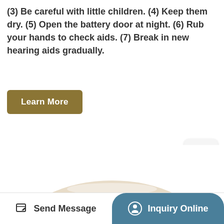(3) Be careful with little children. (4) Keep them dry. (5) Open the battery door at night. (6) Rub your hands to check aids. (7) Break in new hearing aids gradually.
Learn More
[Figure (photo): Coiled cream/beige colored hearing aid tubing or earmold tubing arranged in circular loops on a white background]
Send Message
Inquiry Online